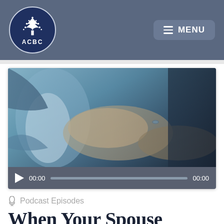[Figure (logo): ACBC logo: dark navy circle with white tree illustration and 'ACBC' text below]
[Figure (screenshot): Navigation menu button with three horizontal lines and 'MENU' text on a gray-blue rounded rectangle]
[Figure (photo): Close-up photo of two people holding hands, one wearing a wedding ring, sitting together. Below the photo is a media player control bar with a play button, time display (00:00), a progress bar, and total time (00:00).]
Podcast Episodes
When Your Spouse